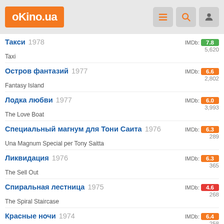oKino.ua
Такси 1978 | Taxi | IMDb: 7.8 | 5,620
Остров фантазий 1977 | Fantasy Island | IMDb: 6.6 | 2,802
Лодка любви 1977 | The Love Boat | IMDb: 6.0 | 3,993
Специальный магнум для Тони Саита 1976 | Una Magnum Special per Tony Saitta | IMDb: 6.3 | 289
Ликвидация 1976 | The Sell Out | IMDb: 6.3 | 365
Спиральная лестница 1975 | The Spiral Staircase | IMDb: 4.6 | 268
Красные ночи 1974 | Nuits rouges | IMDb: 6.4 | 258